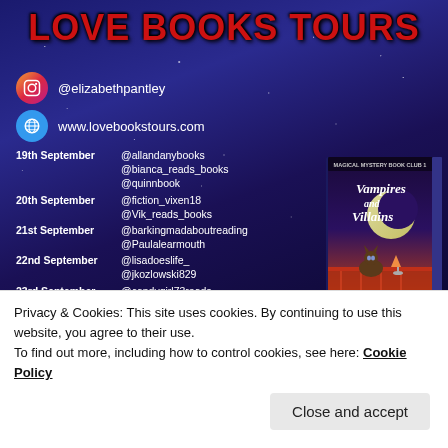LOVE BOOKS TOURS
@elizabethpantley
www.lovebookstours.com
19th September  @allandanybooks  @bianca_reads_books  @quinnbook
20th September  @fiction_vixen18  @Vik_reads_books
21st September  @barkingmadaboutreading  @Paulalearmouth
22nd September  @lisadoeslife_  @jkozlowski829
23rd September  @candygirl73reads  @once_upon_a_million_worlds
26th September  @justanotherreader_01
[Figure (illustration): Book cover: Vampires and Villains, Magical Mystery Book Club 1 — shows a cat on a balcony with a cocktail glass and moon in background]
Privacy & Cookies: This site uses cookies. By continuing to use this website, you agree to their use.
To find out more, including how to control cookies, see here: Cookie Policy
Close and accept